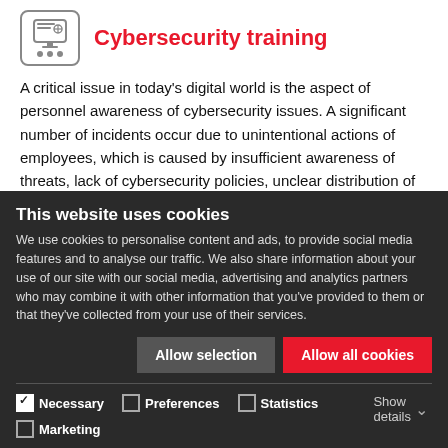[Figure (illustration): Square icon with rounded corners showing a person at a computer screen with group/people icons below]
Cybersecurity training
A critical issue in today's digital world is the aspect of personnel awareness of cybersecurity issues. A significant number of incidents occur due to unintentional actions of employees, which is caused by insufficient awareness of threats, lack of cybersecurity policies, unclear distribution of functional responsibilities and rotation during vacations, and so on.
Specialists of BDO Digital teach customer staff of the basics of
This website uses cookies
We use cookies to personalise content and ads, to provide social media features and to analyse our traffic. We also share information about your use of our site with our social media, advertising and analytics partners who may combine it with other information that you've provided to them or that they've collected from your use of their services.
Allow selection | Allow all cookies
Necessary | Preferences | Statistics | Marketing | Show details